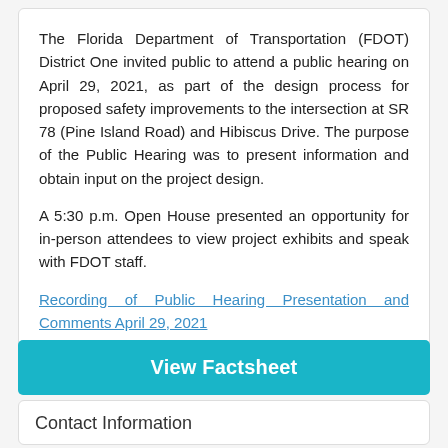The Florida Department of Transportation (FDOT) District One invited public to attend a public hearing on April 29, 2021, as part of the design process for proposed safety improvements to the intersection at SR 78 (Pine Island Road) and Hibiscus Drive. The purpose of the Public Hearing was to present information and obtain input on the project design.
A 5:30 p.m. Open House presented an opportunity for in-person attendees to view project exhibits and speak with FDOT staff.
Recording of Public Hearing Presentation and Comments April 29, 2021
View Factsheet
Contact Information